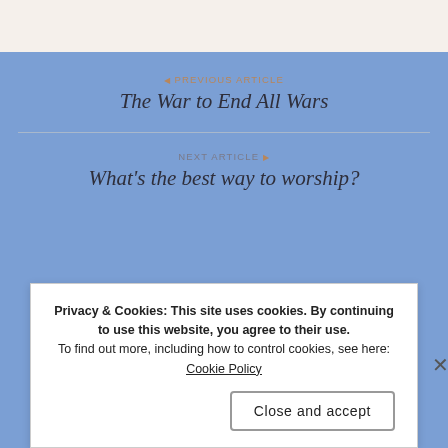◀ PREVIOUS ARTICLE
The War to End All Wars
NEXT ARTICLE ▶
What's the best way to worship?
Privacy & Cookies: This site uses cookies. By continuing to use this website, you agree to their use. To find out more, including how to control cookies, see here: Cookie Policy
Close and accept